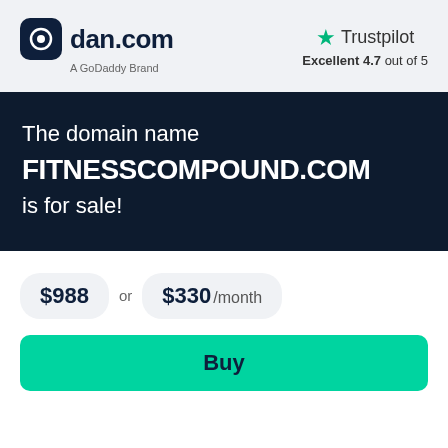[Figure (logo): dan.com logo with dark navy rounded square icon and text 'dan.com', subtitle 'A GoDaddy Brand']
[Figure (logo): Trustpilot logo with green star, text 'Trustpilot', rating 'Excellent 4.7 out of 5']
The domain name FITNESSCOMPOUND.COM is for sale!
$988 or $330 /month
Buy